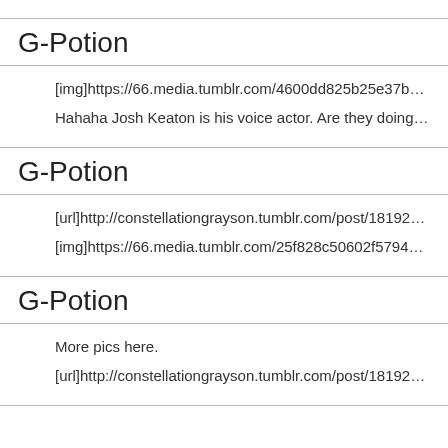G-Potion
[img]https://66.media.tumblr.com/4600dd825b25e37b22a2866bafc...
Hahaha Josh Keaton is his voice actor. Are they doing this on purpo...
G-Potion
[url]http://constellationgrayson.tumblr.com/post/181926473698[/url]
[img]https://66.media.tumblr.com/25f828c50602f57941062c6c38e5f...
G-Potion
More pics here.
[url]http://constellationgrayson.tumblr.com/post/181926626148[/url]